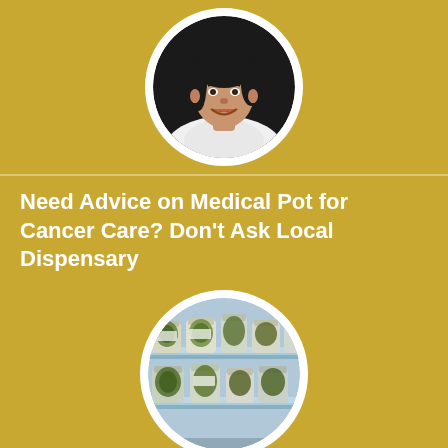[Figure (photo): Circular portrait photo of a dark-haired woman smiling, wearing a white top, against a dark background]
Need Advice on Medical Pot for Cancer Care? Don't Ask Local Dispensary
[Figure (photo): Circular photo of glass jars filled with marijuana on dispensary shelves]
Too Few Psychiatric Beds: Psychiatrists' Group Takes Aim at Ongoing Crisis